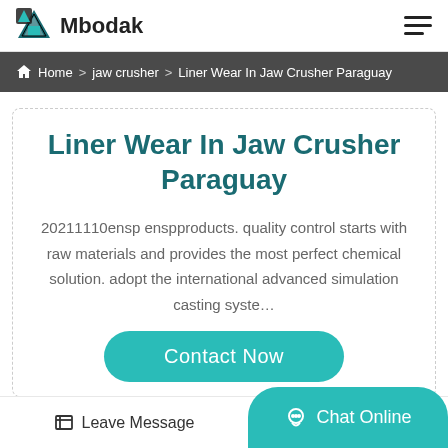Mbodak
Home > jaw crusher > Liner Wear In Jaw Crusher Paraguay
Liner Wear In Jaw Crusher Paraguay
20211110ensp enspproducts. quality control starts with raw materials and provides the most perfect chemical solution. adopt the international advanced simulation casting syste…
Contact Now
Leave Message   Chat Online